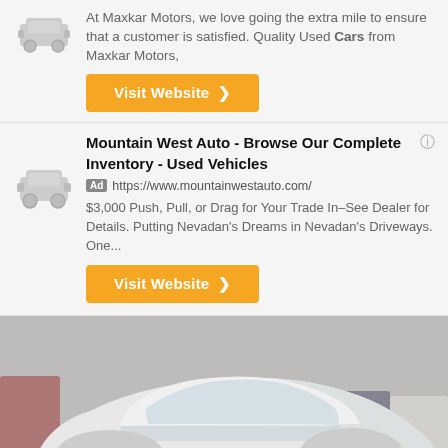At Maxkar Motors, we love going the extra mile to ensure that a customer is satisfied. Quality Used Cars from Maxkar Motors,
Visit Website ❯
Mountain West Auto - Browse Our Complete Inventory - Used Vehicles
Ad https://www.mountainwestauto.com/
$3,000 Push, Pull, or Drag for Your Trade In–See Dealer for Details. Putting Nevadan's Dreams in Nevadan's Driveways. One...
Visit Website ❯
[Figure (photo): White Chevrolet Camaro sports car in a parking lot, front three-quarter view, with black wheels. A 'See photo >' button overlay is in the bottom right.]